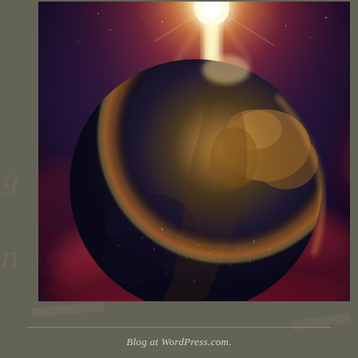[Figure (illustration): Dramatic space illustration of Earth or a planet seen from space with a brilliant star or sun rising behind it, producing intense white-yellow light at the top center. The planet surface shows dark continents and oceans on a globe form, lit on the right side with warm golden tones. The background is deep space with dark purple-blue hues, surrounded by swirling red-pink nebula clouds especially prominent in the lower portion and sides. A few scattered stars are visible in the upper region.]
Blog at WordPress.com.